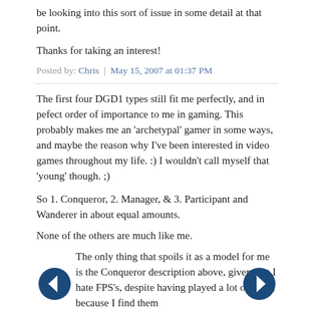be looking into this sort of issue in some detail at that point.
Thanks for taking an interest!
Posted by: Chris | May 15, 2007 at 01:37 PM
The first four DGD1 types still fit me perfectly, and in pefect order of importance to me in gaming. This probably makes me an 'archetypal' gamer in some ways, and maybe the reason why I've been interested in video games throughout my life. :) I wouldn't call myself that 'young' though. ;)
So 1. Conqueror, 2. Manager, & 3. Participant and Wanderer in about equal amounts.
None of the others are much like me.
The only thing that spoils it as a model for me is the Conqueror description above, given that I hate FPS's, despite having played a lot of them, because I find them